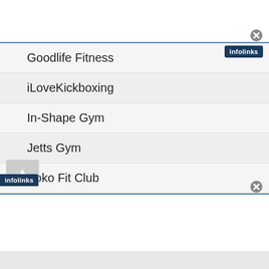[Figure (screenshot): Top white bar with close button and blue bottom border]
[Figure (logo): Infolinks logo badge in top right corner]
Goodlife Fitness
iLoveKickboxing
In-Shape Gym
Jetts Gym
Koko Fit Club
LA Fitness
Las Vegas Athletic Club
[Figure (logo): Infolinks logo badge at bottom left]
[Figure (screenshot): Bottom white bar with close button and blue top border]